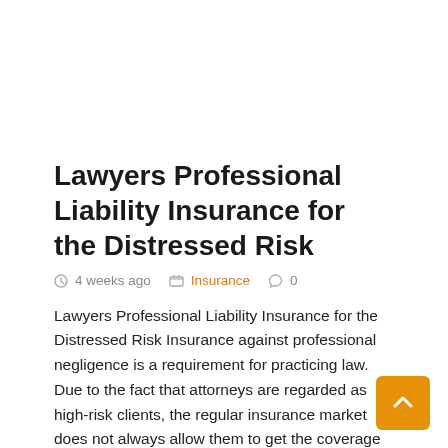Lawyers Professional Liability Insurance for the Distressed Risk
4 weeks ago   Insurance   0
Lawyers Professional Liability Insurance for the Distressed Risk Insurance against professional negligence is a requirement for practicing law. Due to the fact that attorneys are regarded as high-risk clients, the regular insurance market does not always allow them to get the coverage they need. The issue that has to be …